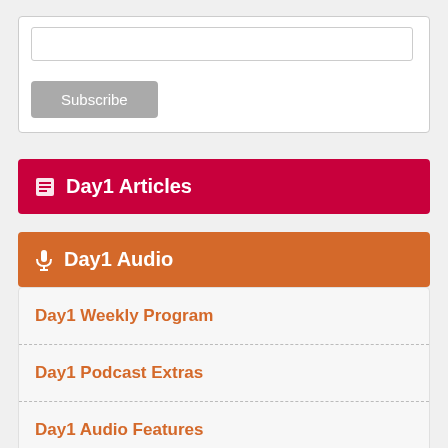[Figure (screenshot): Email input text field (empty)]
Subscribe
Day1 Articles
Day1 Audio
Day1 Weekly Program
Day1 Podcast Extras
Day1 Audio Features
Day1 Video